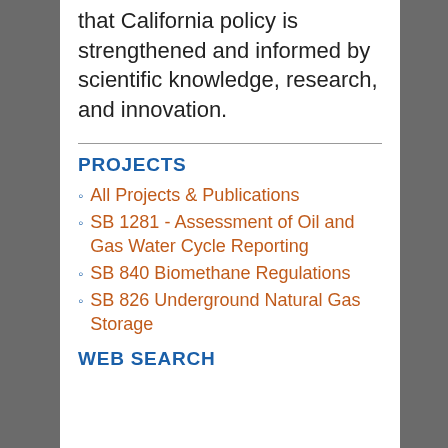that California policy is strengthened and informed by scientific knowledge, research, and innovation.
PROJECTS
All Projects & Publications
SB 1281 - Assessment of Oil and Gas Water Cycle Reporting
SB 840 Biomethane Regulations
SB 826 Underground Natural Gas Storage
WEB SEARCH